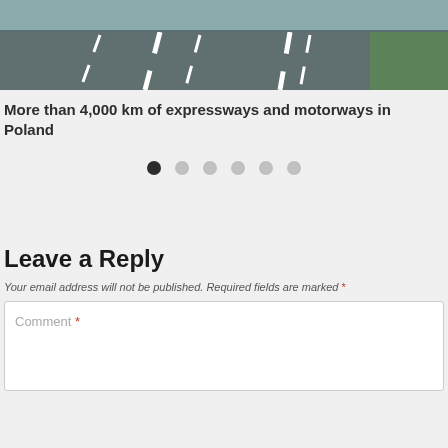[Figure (photo): Aerial/ground-level view of a motorway or expressway road in Poland, with lane markings and green vegetation on the right side.]
More than 4,000 km of expressways and motorways in Poland
• • • • • • (carousel navigation dots, first active)
Leave a Reply
Your email address will not be published. Required fields are marked *
Comment *